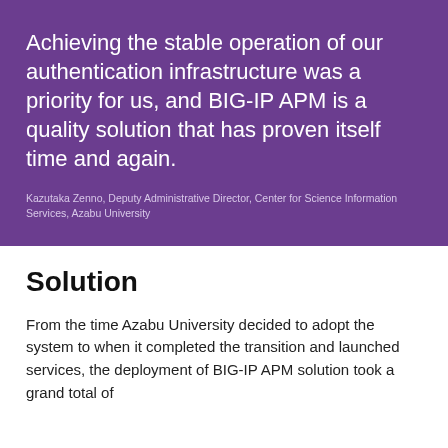Achieving the stable operation of our authentication infrastructure was a priority for us, and BIG-IP APM is a quality solution that has proven itself time and again.
Kazutaka Zenno, Deputy Administrative Director, Center for Science Information Services, Azabu University
Solution
From the time Azabu University decided to adopt the system to when it completed the transition and launched services, the deployment of BIG-IP APM solution took a grand total of